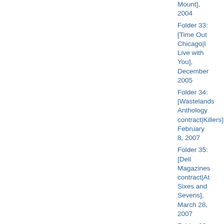Mount], 2004
Folder 33: [Time Out Chicago|I Live with You], December 2005
Folder 34: [Wastelands Anthology contract|Killers], February 8, 2007
Folder 35: [Dell Magazines contract|At Sixes and Sevens], March 28, 2007
Folder 36: [Thematic Readings Flyier|The